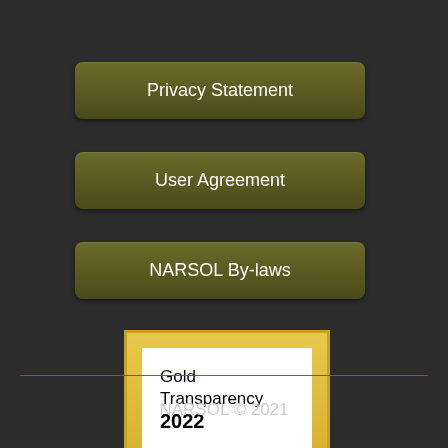Privacy Statement
User Agreement
NARSOL By-laws
[Figure (logo): Gold Transparency 2022 Candid. badge with gold border and white interior]
NARSOL © 2021